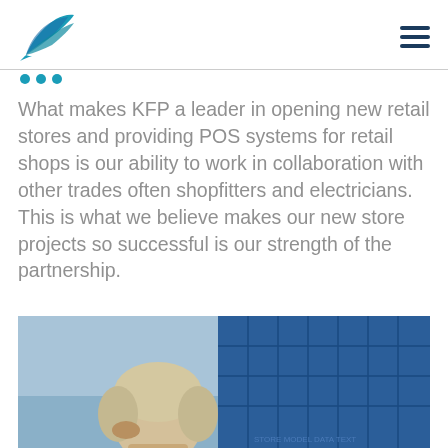KFP logo and navigation menu
What makes KFP a leader in opening new retail stores and providing POS systems for retail shops is our ability to work in collaboration with other trades often shopfitters and electricians. This is what we believe makes our new store projects so successful is our strength of the partnership.
[Figure (photo): Photo of a person with blonde hair in the foreground, with blue industrial or commercial building structure in the background.]